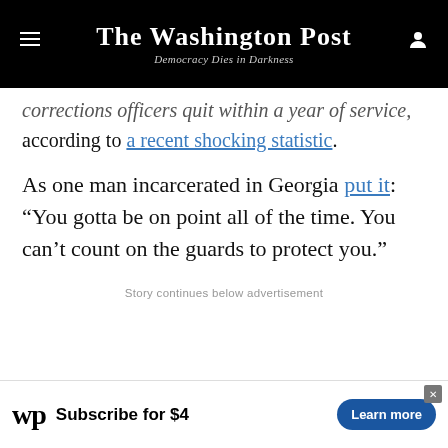The Washington Post — Democracy Dies in Darkness
corrections officers quit within a year of service, according to a recent shocking statistic.
As one man incarcerated in Georgia put it: "You gotta be on point all of the time. You can't count on the guards to protect you."
Story continues below advertisement
[Figure (other): Washington Post subscription advertisement banner: WP logo, 'Subscribe for $4', 'Learn more' button]